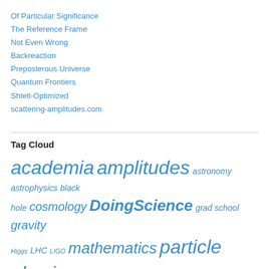Of Particular Significance
The Reference Frame
Not Even Wrong
Backreaction
Preposterous Universe
Quantum Frontiers
Shtetl-Optimized
scattering-amplitudes.com
Tag Cloud
academia amplitudes astronomy astrophysics black hole cosmology DoingScience grad school gravity Higgs LHC LIGO mathematics particle physics philosophy of science physics press